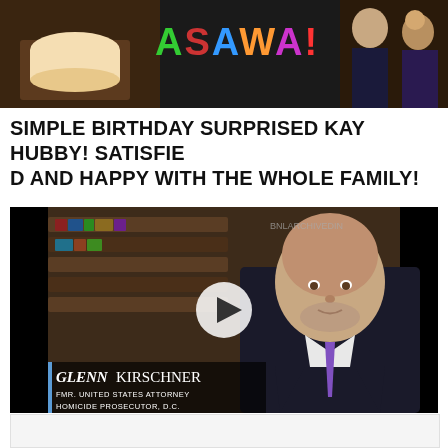[Figure (photo): Birthday party scene with colorful 'ASAWA!' text and people celebrating]
SIMPLE BIRTHDAY SURPRISED KAY HUBBY! SATISFIED AND HAPPY WITH THE WHOLE FAMILY!
[Figure (screenshot): Video thumbnail showing Glenn Kirschner, Fmr. United States Attorney Homicide Prosecutor D.C., with a play button overlay]
New Reporting Reinforces Trump's Criminal Liability for Avoidable COVID Deaths: An Analysis